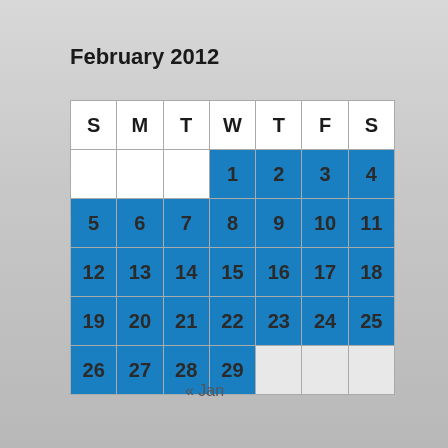February 2012
| S | M | T | W | T | F | S |
| --- | --- | --- | --- | --- | --- | --- |
|  |  |  | 1 | 2 | 3 | 4 |
| 5 | 6 | 7 | 8 | 9 | 10 | 11 |
| 12 | 13 | 14 | 15 | 16 | 17 | 18 |
| 19 | 20 | 21 | 22 | 23 | 24 | 25 |
| 26 | 27 | 28 | 29 |  |  |  |
« Jan
Mar »